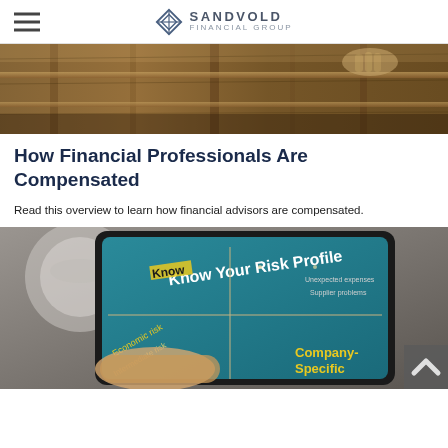SANDVOLD FINANCIAL GROUP
[Figure (photo): Close-up photo of worn wooden furniture or workshop shelves with hand visible]
How Financial Professionals Are Compensated
Read this overview to learn how financial advisors are compensated.
[Figure (photo): Photo of a hand holding a tablet displaying a teal infographic titled 'Know Your Risk Profile' with text including 'Economic risk', 'Intermediate risk', 'Unexpected expenses', 'Supplier problems', 'Company-Specific']